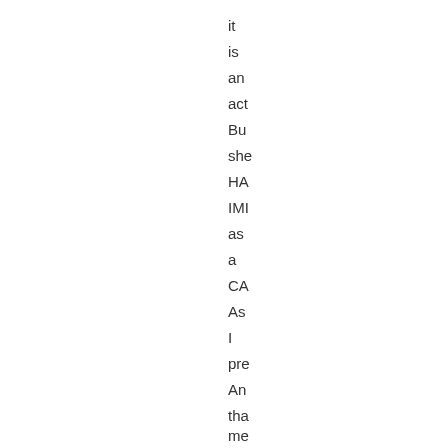it
is
an
act
Bu
she
HA
IMI
as
a
CA
As
I
pre
An
tha
me